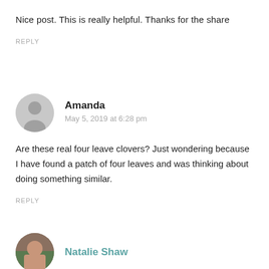Nice post. This is really helpful. Thanks for the share
REPLY
Amanda
May 5, 2019 at 6:28 pm
Are these real four leave clovers? Just wondering because I have found a patch of four leaves and was thinking about doing something similar.
REPLY
Natalie Shaw